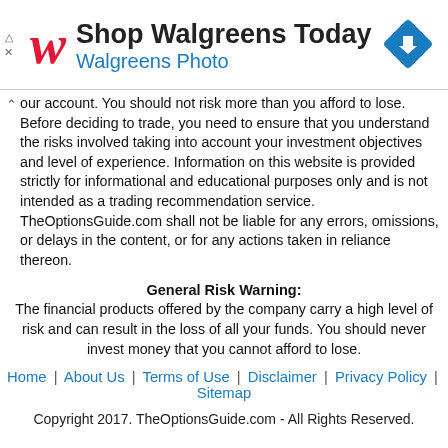[Figure (other): Walgreens advertisement banner with Walgreens logo, text 'Shop Walgreens Today' and 'Walgreens Photo', and a blue diamond navigation icon on the right]
your account. You should not risk more than you afford to lose. Before deciding to trade, you need to ensure that you understand the risks involved taking into account your investment objectives and level of experience. Information on this website is provided strictly for informational and educational purposes only and is not intended as a trading recommendation service. TheOptionsGuide.com shall not be liable for any errors, omissions, or delays in the content, or for any actions taken in reliance thereon.
General Risk Warning:
The financial products offered by the company carry a high level of risk and can result in the loss of all your funds. You should never invest money that you cannot afford to lose.
Home | About Us | Terms of Use | Disclaimer | Privacy Policy | Sitemap
Copyright 2017. TheOptionsGuide.com - All Rights Reserved.